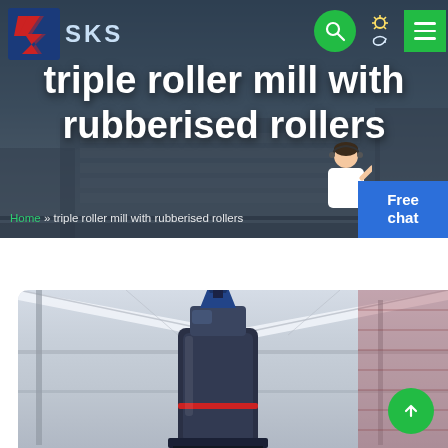[Figure (screenshot): SKS company website header/hero banner showing navigation bar with SKS logo (red/blue lightning-bolt S icon and 'SKS' text), search button, theme toggle (sun/moon), and green menu button on the right. Dark overlay on a building background. Large white bold title text reading 'triple roller mill with rubberised rollers'. Breadcrumb navigation showing 'Home » triple roller mill with rubberised rollers'. A customer-service avatar and a blue 'Free chat' button in the bottom-right corner of the banner.]
[Figure (photo): Product photo of an industrial triple roller mill machine with rubberised rollers, shown inside a large industrial hall or warehouse with a white tent-like roof structure. The machine is dark/navy colored, tall cylindrical shape with machinery on top. Photo is cropped showing only the upper portion of the machine and the hall interior.]